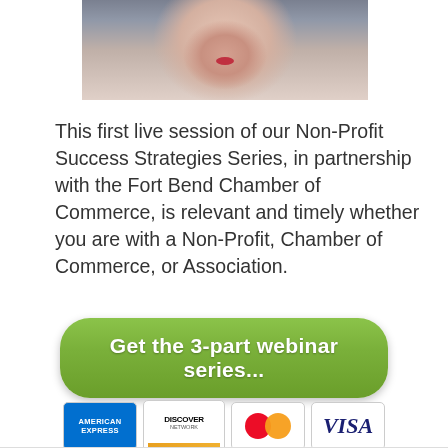[Figure (photo): Blurred photo of a person's face, appearing to be a woman, with a blurred bookshelf background]
This first live session of our Non-Profit Success Strategies Series, in partnership with the Fort Bend Chamber of Commerce, is relevant and timely whether you are with a Non-Profit, Chamber of Commerce, or Association.
[Figure (other): Green rounded button with text 'Get the 3-part webinar series...']
[Figure (other): Payment card logos: American Express, Discover Network, MasterCard, Visa]